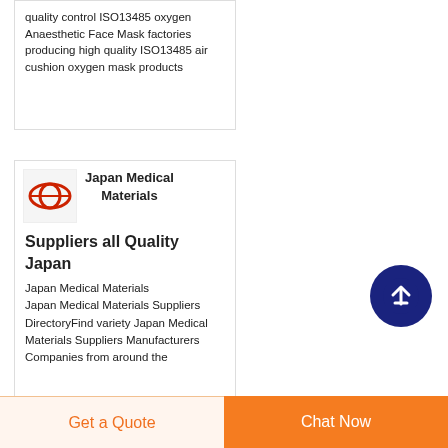quality control ISO13485 oxygen Anaesthetic Face Mask factories producing high quality ISO13485 air cushion oxygen mask products
[Figure (logo): Small thumbnail image with orange/red logo mark on white background]
Japan Medical Materials Suppliers all Quality Japan
Japan Medical Materials Japan Medical Materials Suppliers DirectoryFind variety Japan Medical Materials Suppliers Manufacturers Companies from around the
Get a Quote
Chat Now